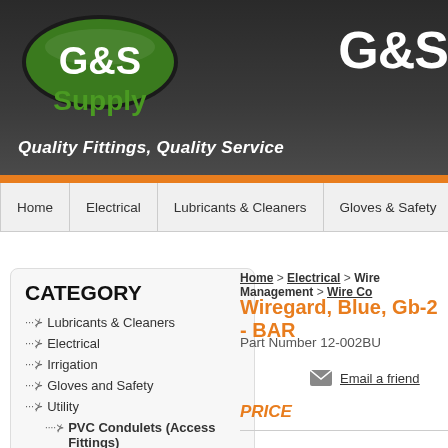[Figure (logo): G&S Supply logo - oval green badge with white G&S text and green Supply text below]
G&S
Quality Fittings, Quality Service
Home
Electrical
Lubricants & Cleaners
Gloves & Safety
CATEGORY
Lubricants & Cleaners
Electrical
Irrigation
Gloves and Safety
Utility
PVC Condulets (Access Fittings)
Home > Electrical > Wire Management > Wire Co
Wiregard, Blue, Gb-2 - BAR
Part Number 12-002BU
Email a friend
PRICE